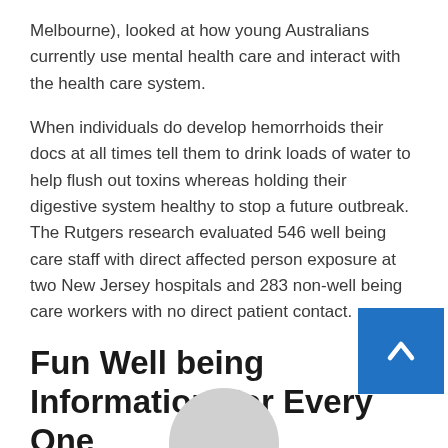Melbourne), looked at how young Australians currently use mental health care and interact with the health care system.
When individuals do develop hemorrhoids their docs at all times tell them to drink loads of water to help flush out toxins whereas holding their digestive system healthy to stop a future outbreak. The Rutgers research evaluated 546 well being care staff with direct affected person exposure at two New Jersey hospitals and 283 non-well being care workers with no direct patient contact.
Fun Well being Information For Every One